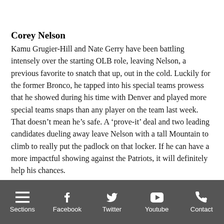Corey Nelson
Kamu Grugier-Hill and Nate Gerry have been battling intensely over the starting OLB role, leaving Nelson, a previous favorite to snatch that up, out in the cold. Luckily for the former Bronco, he tapped into his special teams prowess that he showed during his time with Denver and played more special teams snaps than any player on the team last week. That doesn't mean he's safe. A 'prove-it' deal and two leading candidates dueling away leave Nelson with a tall Mountain to climb to really put the padlock on that locker. If he can have a more impactful showing against the Patriots, it will definitely help his chances.
Sections | Facebook | Twitter | Youtube | Contact